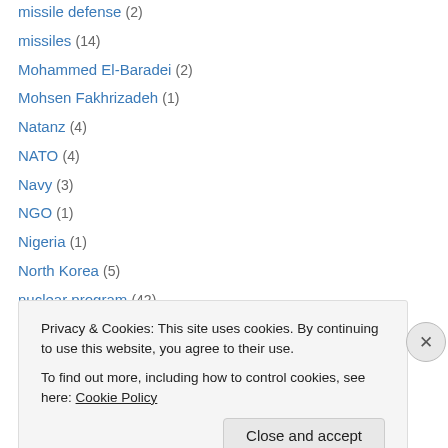missile defense (2)
missiles (14)
Mohammed El-Baradei (2)
Mohsen Fakhrizadeh (1)
Natanz (4)
NATO (4)
Navy (3)
NGO (1)
Nigeria (1)
North Korea (5)
nuclear program (42)
nuclear scientist (2)
nuclear talks (22)
Obama (24)
Privacy & Cookies: This site uses cookies. By continuing to use this website, you agree to their use.
To find out more, including how to control cookies, see here: Cookie Policy